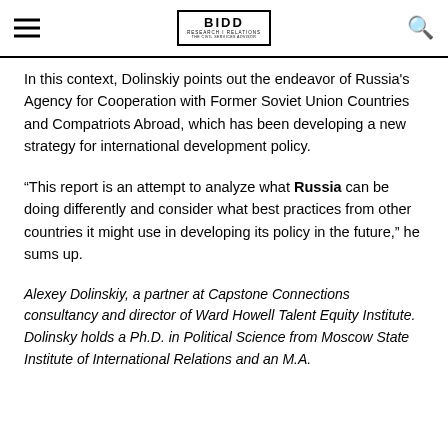BIDD — Research & Relations
In this context, Dolinskiy points out the endeavor of Russia's Agency for Cooperation with Former Soviet Union Countries and Compatriots Abroad, which has been developing a new strategy for international development policy.
“This report is an attempt to analyze what Russia can be doing differently and consider what best practices from other countries it might use in developing its policy in the future,” he sums up.
Alexey Dolinskiy, a partner at Capstone Connections consultancy and director of Ward Howell Talent Equity Institute. Dolinsky holds a Ph.D. in Political Science from Moscow State Institute of International Relations and an M.A.